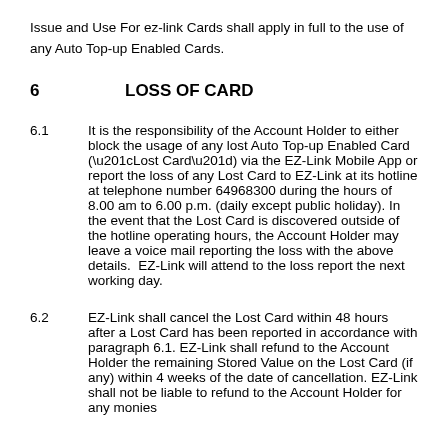Issue and Use For ez-link Cards shall apply in full to the use of any Auto Top-up Enabled Cards.
6    LOSS OF CARD
6.1    It is the responsibility of the Account Holder to either block the usage of any lost Auto Top-up Enabled Card (“Lost Card”) via the EZ-Link Mobile App or report the loss of any Lost Card to EZ-Link at its hotline at telephone number 64968300 during the hours of 8.00 am to 6.00 p.m. (daily except public holiday). In the event that the Lost Card is discovered outside of the hotline operating hours, the Account Holder may leave a voice mail reporting the loss with the above details.  EZ-Link will attend to the loss report the next working day.
6.2    EZ-Link shall cancel the Lost Card within 48 hours after a Lost Card has been reported in accordance with paragraph 6.1. EZ-Link shall refund to the Account Holder the remaining Stored Value on the Lost Card (if any) within 4 weeks of the date of cancellation. EZ-Link shall not be liable to refund to the Account Holder for any monies